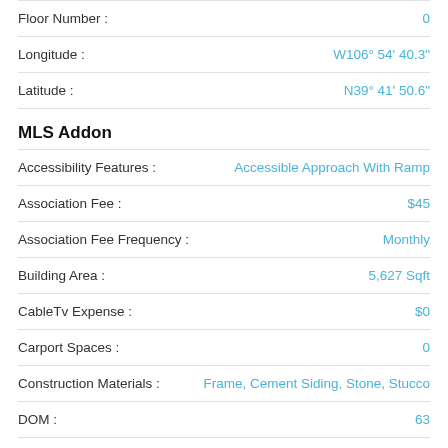Floor Number : 0
Longitude : W106° 54' 40.3"
Latitude : N39° 41' 50.6"
MLS Addon
Accessibility Features : Accessible Approach With Ramp
Association Fee : $45
Association Fee Frequency : Monthly
Building Area : 5,627 Sqft
CableTv Expense : $0
Carport Spaces : 0
Construction Materials : Frame, Cement Siding, Stone, Stucco
DOM : 63
Direction Faces : South
Directions :